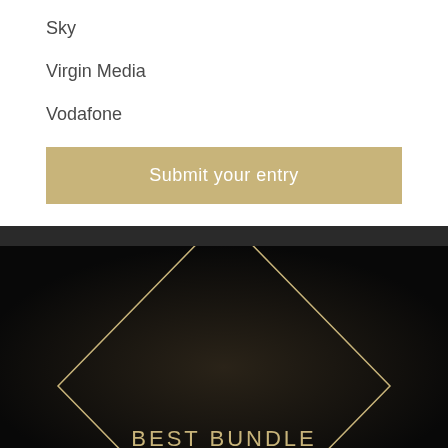Sky
Virgin Media
Vodafone
Submit your entry
[Figure (illustration): Black background with a gold diamond/rhombus outline shape and text 'BEST BUNDLE' at the bottom in gold letters]